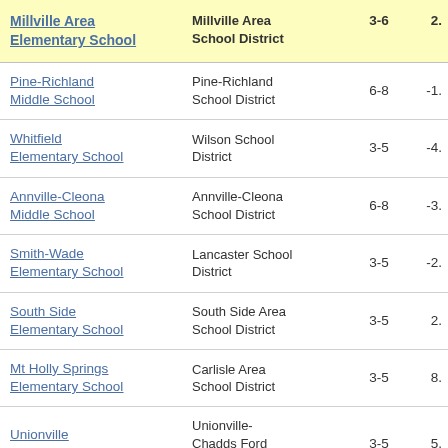| School | District | Grades | Value |
| --- | --- | --- | --- |
| Millville Area Elementary School | Millville Area School District | 3-6 | 2. |
| Pine-Richland Middle School | Pine-Richland School District | 6-8 | -1. |
| Whitfield Elementary School | Wilson School District | 3-5 | -4. |
| Annville-Cleona Middle School | Annville-Cleona School District | 6-8 | -3. |
| Smith-Wade Elementary School | Lancaster School District | 3-5 | -2. |
| South Side Elementary School | South Side Area School District | 3-5 | 2. |
| Mt Holly Springs Elementary School | Carlisle Area School District | 3-5 | 8. |
| Unionville Elementary School | Unionville-Chadds Ford School District | 3-5 | 5. |